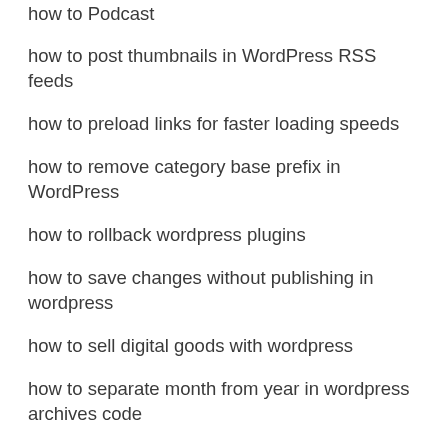how to Podcast
how to post thumbnails in WordPress RSS feeds
how to preload links for faster loading speeds
how to remove category base prefix in WordPress
how to rollback wordpress plugins
how to save changes without publishing in wordpress
how to sell digital goods with wordpress
how to separate month from year in wordpress archives code
how to set a default fallback image for wordpress post thumbnails
how to setup maxdn in wordpress
how to show months without year in wordpress archives